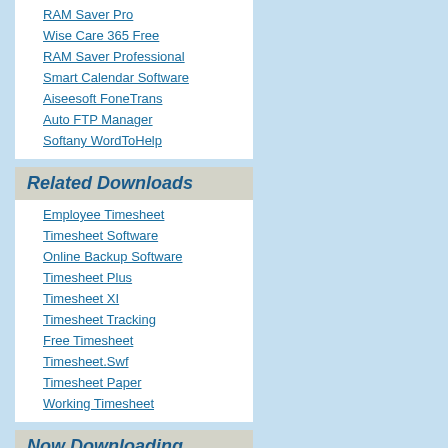RAM Saver Pro
Wise Care 365 Free
RAM Saver Professional
Smart Calendar Software
Aiseesoft FoneTrans
Auto FTP Manager
Softany WordToHelp
Related Downloads
Employee Timesheet
Timesheet Software
Online Backup Software
Timesheet Plus
Timesheet XI
Timesheet Tracking
Free Timesheet
Timesheet.Swf
Timesheet Paper
Working Timesheet
Now Downloading
FastReport CLX
Pogo Pool-Utto
MacroGamer
Flobo HDD Repair
Network RPG Maker 2000